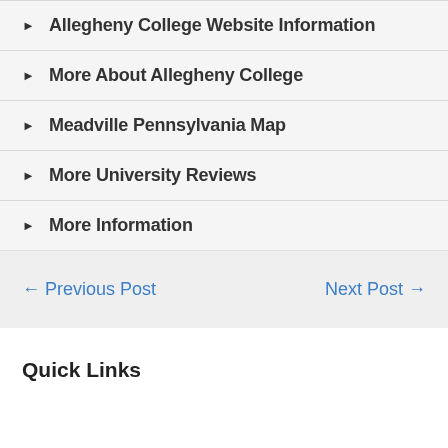Allegheny College Website Information
More About Allegheny College
Meadville Pennsylvania Map
More University Reviews
More Information
← Previous Post
Next Post →
Quick Links